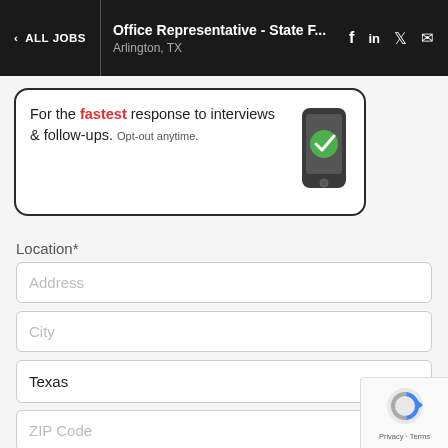ALL JOBS | Office Representative - State F... Arlington, TX
For the fastest response to interviews & follow-ups. Opt-out anytime.
Location*
Address
City
Texas
ZIP Code
Recent Job Title
[Figure (screenshot): reCAPTCHA privacy badge in bottom right corner]